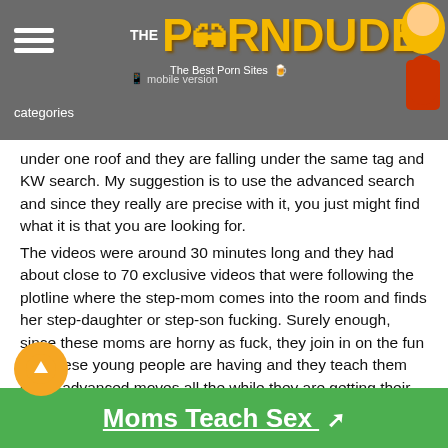The Porn Dude — The Best Porn Sites | categories | mobile version
under one roof and they are falling under the same tag and KW search. My suggestion is to use the advanced search and since they really are precise with it, you just might find what it is that you are looking for.
The videos were around 30 minutes long and they had about close to 70 exclusive videos that were following the plotline where the step-mom comes into the room and finds her step-daughter or step-son fucking. Surely enough, since these moms are horny as fuck, they join in on the fun that these young people are having and they teach them some advanced moves all the while they are getting their own pleasure from sharing these golden lessons that every slut knows but never reveals their secrets. A cool enough angle to play with.
moms are all well-established porn stars and you have the Models section where you can get information on the models with a brief bio info and a small description of their careers. Each
Moms Teach Sex